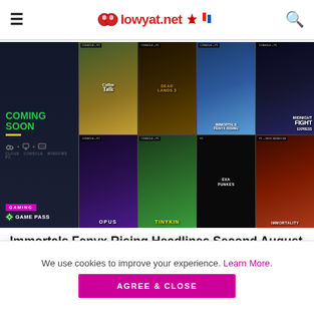lowyat.net
[Figure (screenshot): Xbox Game Pass 'Coming Soon' promotional image showing 8 game covers in a 4x2 grid including Immortals Fenyx Rising, Midnight Fight Express, OPUS, Tinykin, Exa Punks, Immortality, Coffee Talk, Deadlands 3. Left panel shows 'COMING SOON' text with cloud, console, and Windows PC platform icons.]
Immortals Fenyx Rising Headlines Second August PC Game Pass Shuffling
We use cookies to improve your experience. Learn More.
AGREE & CLOSE